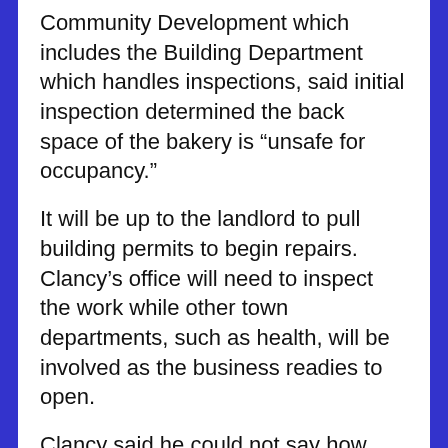Community Development which includes the Building Department which handles inspections, said initial inspection determined the back space of the bakery is “unsafe for occupancy."
It will be up to the landlord to pull building permits to begin repairs. Clancy’s office will need to inspect the work while other town departments, such as health, will be involved as the business readies to open.
Clancy said he could not say how long the work will take but the retail portion of the building will remain closed until the bakery section is approved for occupancy.
Meanwhile, he said the family is awaiting for something...